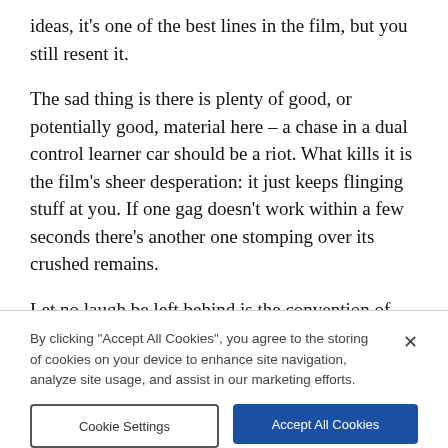ideas, it's one of the best lines in the film, but you still resent it.
The sad thing is there is plenty of good, or potentially good, material here – a chase in a dual control learner car should be a riot. What kills it is the film's sheer desperation: it just keeps flinging stuff at you. If one gag doesn't work within a few seconds there's another one stomping over its crushed remains.
Let no laugh be left behind is the convention of modern Hollywood comedy. They cover all bases, mixing in everything from off-the-wall absurdity to gross toilet humour.
By clicking "Accept All Cookies", you agree to the storing of cookies on your device to enhance site navigation, analyze site usage, and assist in our marketing efforts.